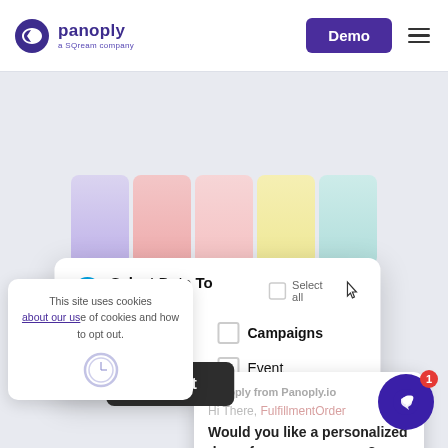[Figure (screenshot): Panoply website screenshot showing navigation bar with logo, Demo button, hamburger menu, colored card bars in background, a 'Select Data To Collect' modal with Salesforce icon and checkboxes for Accounts, Case, Campaigns, Event, a chat popup from Panoply.io, a cookie banner, an Accept button, and a chat widget with badge showing 1.]
panoply — a SQream company | Demo
Select Data To Collect
☑ Accounts
☐ Campaigns
☑ Case
☐ Event
Panoply from Panoply.io
Hi There, FulfillmentOrder
Would you like a personalized demo for your company?
This site uses cookies. Learn more about our use of cookies and how to opt out.
Accept